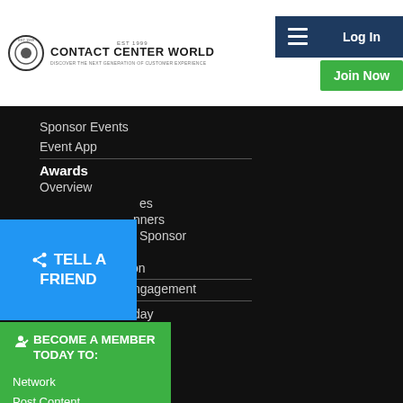Contact Center World | Discover The Next Generation Of Customer Experience | Log In | Join Now
Sponsor Events
Event App
Awards
Overview
es
nners
Sponsor
DREAM Team
Industry Champion
ngagement
day
[Figure (infographic): Blue 'Tell a Friend' share button overlay]
[Figure (infographic): Green 'Become a Member Today To: Network, Post Content, Enter Awards, + Much More' sidebar widget]